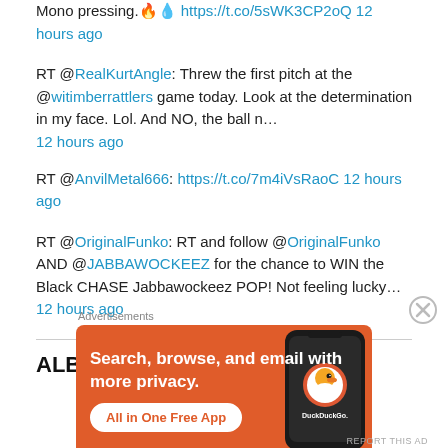Mono pressing. 🔥 💧 https://t.co/5sWK3CP2oQ 12 hours ago
RT @RealKurtAngle: Threw the first pitch at the @witimberrattlers game today. Look at the determination in my face. Lol. And NO, the ball n… 12 hours ago
RT @AnvilMetal666: https://t.co/7m4iVsRaoC 12 hours ago
RT @OriginalFunko: RT and follow @OriginalFunko AND @JABBAWOCKEEZ for the chance to WIN the Black CHASE Jabbawockeez POP! Not feeling lucky… 12 hours ago
ALBUM REVIEWS ARCHIVES
[Figure (screenshot): DuckDuckGo advertisement banner: orange background with text 'Search, browse, and email with more privacy. All in One Free App' and a phone mockup with DuckDuckGo logo. Advertisements label above. Close button (X) to the right.]